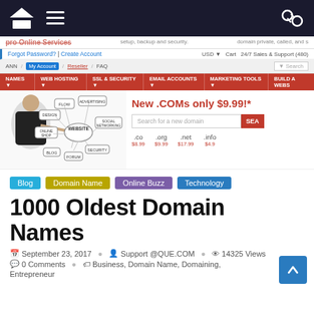[Figure (screenshot): Website navigation bar with home icon, menu icon, and shuffle icon on dark background]
pro Online Services   setup, backup and security.   domain private, called, and s
Forgot Password? | Create Account   USD   Cart   24/7 Sales & Support (480)
ANN | My Account | Reseller | FAQ   Search
NAMES ▼   WEB HOSTING ▼   SSL & SECURITY ▼   EMAIL ACCOUNTS ▼   MARKETING TOOLS ▼   BUILD A WEBS
[Figure (illustration): Website concept diagram showing a woman pointing at words: FLOW, DESIGN, ADVERTISING, ONLINE SHOP, WEBSITE, SOCIAL NETWORKING, BLOG, FORUM, SECURITY]
New .COMs only $9.99!*
Search for a new domain   SEA
.co $8.99   .org $9.99   .net $17.99   .info $4.9
Blog
Domain Name
Online Buzz
Technology
1000 Oldest Domain Names
September 23, 2017   Support @QUE.COM   14325 Views
0 Comments   Business, Domain Name, Domaining, Entrepreneur